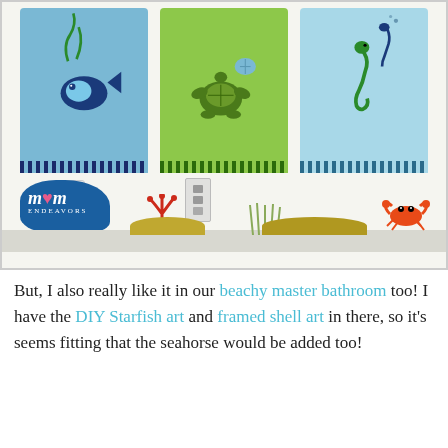[Figure (photo): Photo of a bathroom wall with three decorative hand towels hanging: a blue towel with a fish design, a green towel with a turtle and shell design, and a light blue towel with a seahorse design. Below the towels are light switches, and on the shelf/counter area there are ocean-themed wall decals including coral, seagrass, sand mounds, and an orange crab. A 'Mom Endeavors' logo watermark appears in the lower left of the photo.]
But, I also really like it in our beachy master bathroom too! I have the DIY Starfish art and framed shell art in there, so it's seems fitting that the seahorse would be added too!